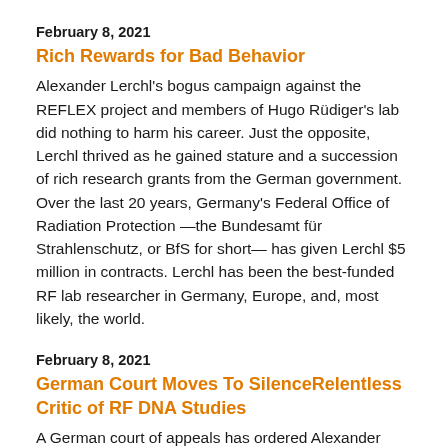February 8, 2021
Rich Rewards for Bad Behavior
Alexander Lerchl's bogus campaign against the REFLEX project and members of Hugo Rüdiger's lab did nothing to harm his career. Just the opposite, Lerchl thrived as he gained stature and a succession of rich research grants from the German government.
Over the last 20 years, Germany's Federal Office of Radiation Protection —the Bundesamt für Strahlenschutz, or BfS for short— has given Lerchl $5 million in contracts. Lerchl has been the best-funded RF lab researcher in Germany, Europe, and, most likely, the world.
February 8, 2021
German Court Moves To SilenceRelentless Critic of RF DNA Studies
A German court of appeals has ordered Alexander Lerchl to stop smearing the authors of two papers which show that mobile phone radiation can break DNA and possibly cause cancer. For more than a decade, Lerchl, a professor of biology